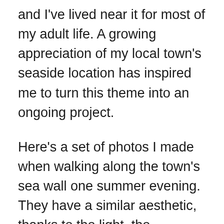and I've lived near it for most of my adult life. A growing appreciation of my local town's seaside location has inspired me to turn this theme into an ongoing project.
Here's a set of photos I made when walking along the town's sea wall one summer evening. They have a similar aesthetic, thanks to the light, the inclusion of the sea in each photo and the black and white treatment. To make them work as a set I had to choose photos with a good variety